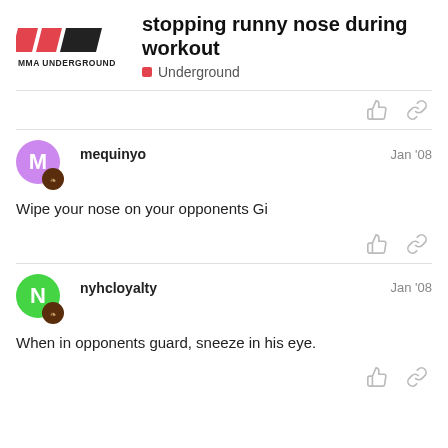stopping runny nose during workout | Underground
mequinyo  Jan '08
Wipe your nose on your opponents Gi
nyhcloyalty  Jan '08
When in opponents guard, sneeze in his eye.